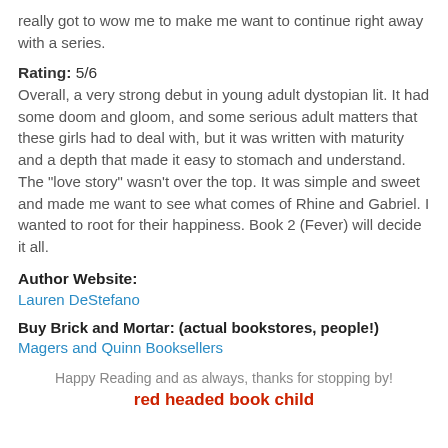really got to wow me to make me want to continue right away with a series.
Rating: 5/6
Overall, a very strong debut in young adult dystopian lit. It had some doom and gloom, and some serious adult matters that these girls had to deal with, but it was written with maturity and a depth that made it easy to stomach and understand. The "love story" wasn't over the top. It was simple and sweet and made me want to see what comes of Rhine and Gabriel. I wanted to root for their happiness. Book 2 (Fever) will decide it all.
Author Website:
Lauren DeStefano
Buy Brick and Mortar: (actual bookstores, people!)
Magers and Quinn Booksellers
Happy Reading and as always, thanks for stopping by!
red headed book child